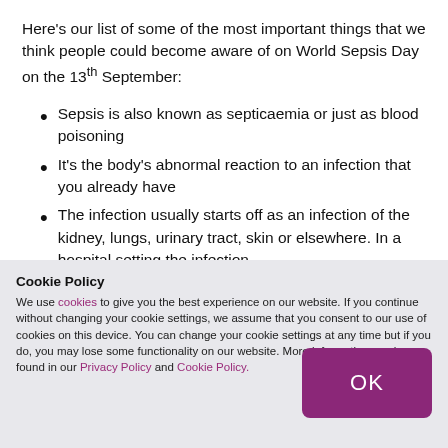Here's our list of some of the most important things that we think people could become aware of on World Sepsis Day on the 13th September:
Sepsis is also known as septicaemia or just as blood poisoning
It's the body's abnormal reaction to an infection that you already have
The infection usually starts off as an infection of the kidney, lungs, urinary tract, skin or elsewhere. In a hospital setting the infection
Cookie Policy
We use cookies to give you the best experience on our website. If you continue without changing your cookie settings, we assume that you consent to our use of cookies on this device. You can change your cookie settings at any time but if you do, you may lose some functionality on our website. More information can be found in our Privacy Policy and Cookie Policy.